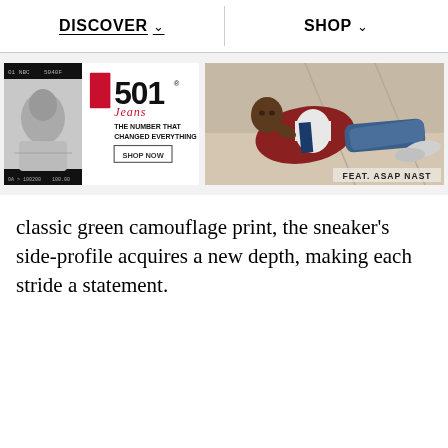DISCOVER   SHOP
[Figure (photo): Levi's 501 Jeans advertisement with black-and-white photo and text: THE NUMBER THAT CHANGED EVERYTHING, SHOP NOW]
[Figure (photo): Fashion photo of ASAP Nast wearing Levi's jeans, reclining, with text FEAT. ASAP NAST]
classic green camouflage print, the sneaker's side-profile acquires a new depth, making each stride a statement.